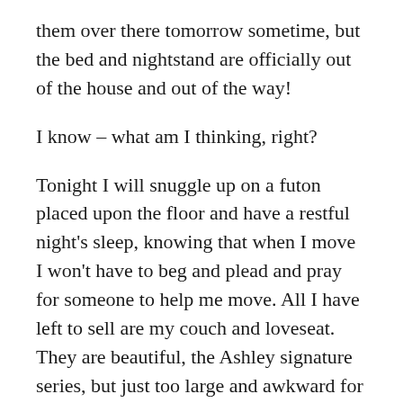them over there tomorrow sometime, but the bed and nightstand are officially out of the house and out of the way!
I know – what am I thinking, right?
Tonight I will snuggle up on a futon placed upon the floor and have a restful night's sleep, knowing that when I move I won't have to beg and plead and pray for someone to help me move. All I have left to sell are my couch and loveseat. They are beautiful, the Ashley signature series, but just too large and awkward for me to move alone! Honestly, part of me wishes that I had never agreed to purchase them, despite the fact it was an